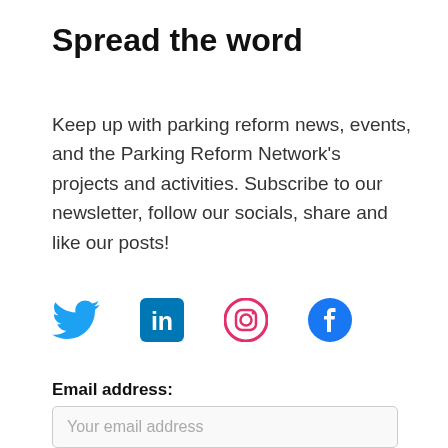Spread the word
Keep up with parking reform news, events, and the Parking Reform Network's projects and activities. Subscribe to our newsletter, follow our socials, share and like our posts!
[Figure (infographic): Row of four social media icons: Twitter (blue bird), LinkedIn (blue square with 'in'), Instagram (pink/magenta circle with camera outline), Facebook (blue circle with 'f')]
Email address:
Your email address